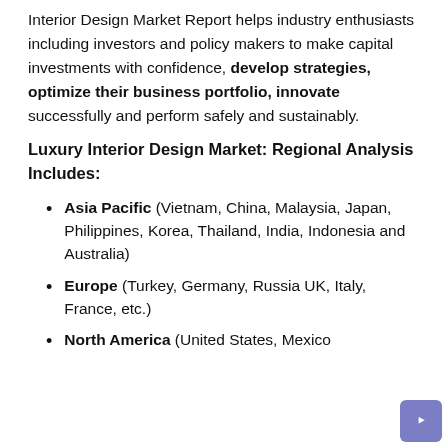Interior Design Market Report helps industry enthusiasts including investors and policy makers to make capital investments with confidence, develop strategies, optimize their business portfolio, innovate successfully and perform safely and sustainably.
Luxury Interior Design Market: Regional Analysis Includes:
Asia Pacific (Vietnam, China, Malaysia, Japan, Philippines, Korea, Thailand, India, Indonesia and Australia)
Europe (Turkey, Germany, Russia UK, Italy, France, etc.)
North America (United States, Mexico